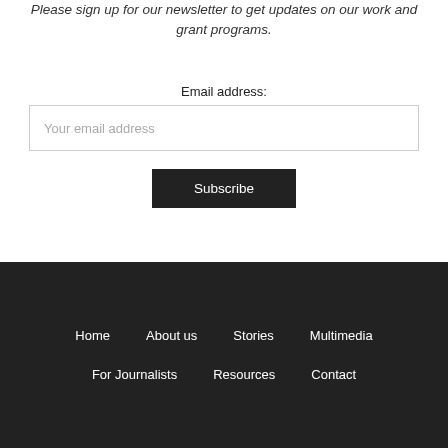Please sign up for our newsletter to get updates on our work and grant programs.
Email address:
Your email address
Subscribe
Home
About us
Stories
Multimedia
For Journalists
Resources
Contact